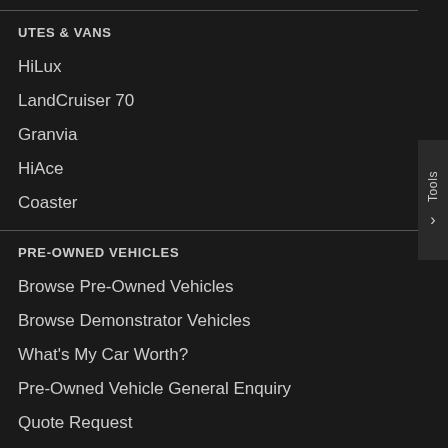UTES & VANS
HiLux
LandCruiser 70
Granvia
HiAce
Coaster
PRE-OWNED VEHICLES
Browse Pre-Owned Vehicles
Browse Demonstrator Vehicles
What's My Car Worth?
Pre-Owned Vehicle General Enquiry
Quote Request
Buy My Car
Toyota Certified Pre-Owned Cars